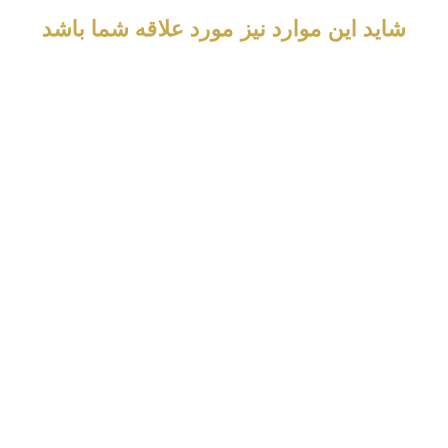شاید این موارد نیز مورد علاقه شما باشد